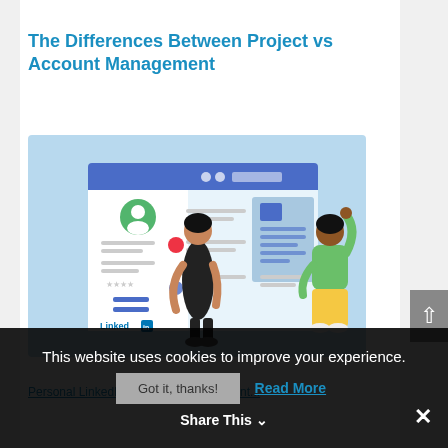The Differences Between Project vs Account Management
[Figure (illustration): Illustration of two people interacting with a LinkedIn-style profile page interface. One person in dark clothing stands in front of the screen, another in green top and yellow pants reaches up to interact with a panel on the right side. The background is light blue with white UI cards showing profile picture, text fields, and a LinkedIn logo.]
Personal LinkedIn Profile Tips for Account...
This website uses cookies to improve your experience.
Got it, thanks!  Read More
Share This